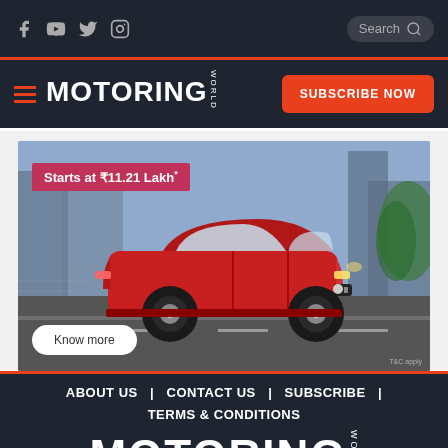Social icons: Facebook, YouTube, Twitter, Instagram | Search bar | Motoring World logo | SUBSCRIBE NOW button
[Figure (photo): Advertisement for a red Volkswagen sedan car with price tag 'Starts at ₹11.21 Lakh*' and a 'Know more' button]
ABOUT US | CONTACT US | SUBSCRIBE | TERMS & CONDITIONS | MOTORING WORLD